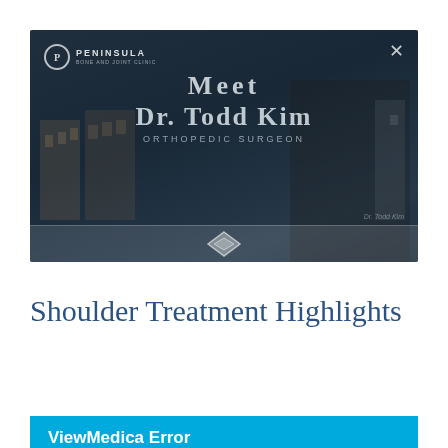[Figure (screenshot): Video thumbnail for Peninsula Bone and Joint Clinic featuring 'Meet Dr. Todd Kim, Orthopedic Surgeon' overlay text on a dark blue background with building images and a man in a suit. An X close button appears top-right and a play/diamond icon at the bottom center.]
Shoulder Treatment Highlights
ViewMedica Error